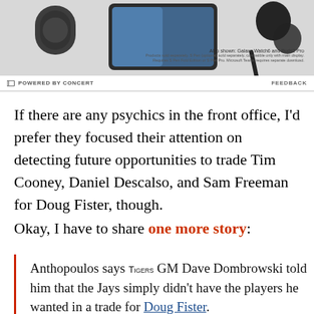[Figure (photo): Samsung Galaxy Z Fold4 advertisement showing the device along with Galaxy Watch6 and Buds2 Pro. Text reads 'Galaxy Z Fold4'. Disclaimer text: 'Also shown: Galaxy Watch6 and Buds2 Pro. Products sold separately. S Pen (optional) sold separately, compatible only with main display. Requires S Pen Fold Edition or S Pen Pro. Microsoft Teams requires separate download.']
POWERED BY CONCERT    FEEDBACK
If there are any psychics in the front office, I'd prefer they focused their attention on detecting future opportunities to trade Tim Cooney, Daniel Descalso, and Sam Freeman for Doug Fister, though.
Okay, I have to share one more story:
Anthopoulos says Tigers GM Dave Dombrowski told him that the Jays simply didn't have the players he wanted in a trade for Doug Fister.